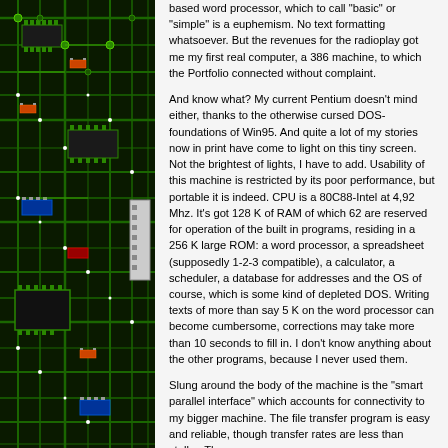[Figure (illustration): Circuit board / electronic PCB pattern in green and black with colored component markings, forming a decorative sidebar on the left side of the page.]
based word processor, which to call "basic" or "simple" is a euphemism. No text formatting whatsoever. But the revenues for the radioplay got me my first real computer, a 386 machine, to which the Portfolio connected without complaint.
And know what? My current Pentium doesn't mind either, thanks to the otherwise cursed DOS-foundations of Win95. And quite a lot of my stories now in print have come to light on this tiny screen. Not the brightest of lights, I have to add. Usability of this machine is restricted by its poor performance, but portable it is indeed. CPU is a 80C88-Intel at 4,92 Mhz. It's got 128 K of RAM of which 62 are reserved for operation of the built in programs, residing in a 256 K large ROM: a word processor, a spreadsheet (supposedly 1-2-3 compatible), a calculator, a scheduler, a database for addresses and the OS of course, which is some kind of depleted DOS. Writing texts of more than say 5 K on the word processor can become cumbersome, corrections may take more than 10 seconds to fill in. I don't know anything about the other programs, because I never used them.
Slung around the body of the machine is the "smart parallel interface" which accounts for connectivity to my bigger machine. The file transfer program is easy and reliable, though transfer rates are less than stellar. The screen